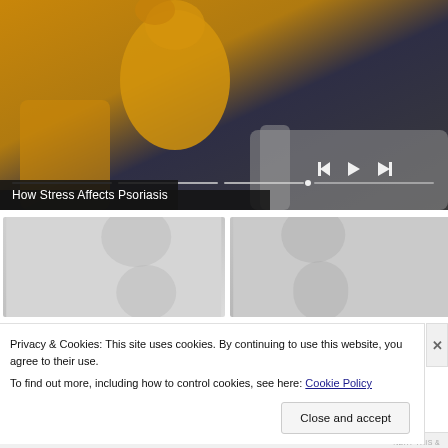[Figure (screenshot): Video player showing a person in a yellow sweater sitting on a couch, with playback controls (previous, play, next) and a progress bar. Video title bar reads 'How Stress Affects Psoriasis'.]
How Stress Affects Psoriasis
[Figure (photo): Two thumbnail images side by side, appearing as grayscale/low-contrast photo thumbnails of people.]
Privacy & Cookies: This site uses cookies. By continuing to use this website, you agree to their use.
To find out more, including how to control cookies, see here: Cookie Policy
Close and accept